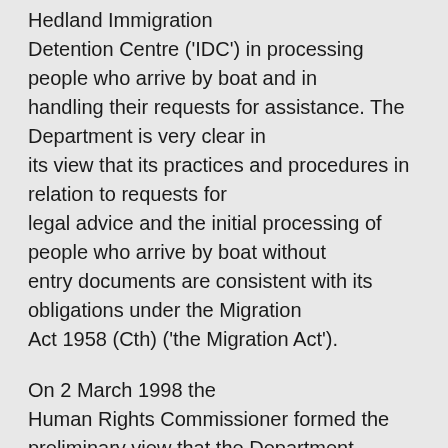Hedland Immigration Detention Centre ('IDC') in processing people who arrive by boat and in handling their requests for assistance. The Department is very clear in its view that its practices and procedures in relation to requests for legal advice and the initial processing of people who arrive by boat without entry documents are consistent with its obligations under the Migration Act 1958 (Cth) ('the Migration Act').
On 2 March 1998 the Human Rights Commissioner formed the preliminary view that the Department, on behalf of the Commonwealth of Australia, had breached Mr Quan's and